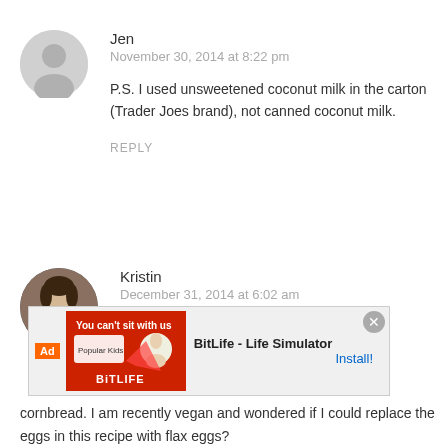[Figure (illustration): Gray circular default avatar icon for user Jen]
Jen
November 30, 2014 at 8:22 pm
P.S. I used unsweetened coconut milk in the carton (Trader Joes brand), not canned coconut milk.
REPLY
[Figure (photo): Profile photo of Kristin, a woman with dark hair]
Kristin
December 31, 2014 at 6:02 am
[Figure (screenshot): Ad overlay: BitLife - Life Simulator, Install! button with close X]
cornbread. I am recently vegan and wondered if I could replace the eggs in this recipe with flax eggs?